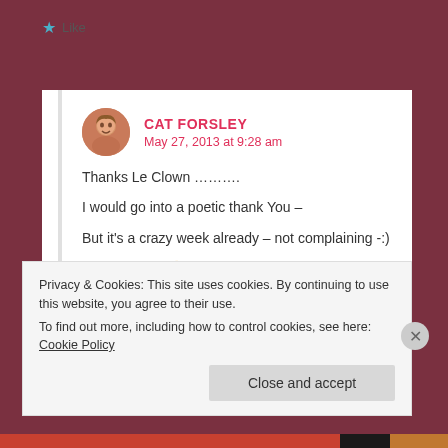Like
CAT FORSLEY
May 27, 2013 at 9:28 am
Thanks Le Clown ………..
I would go into a poetic thank You –
But it's a crazy week already – not complaining -:)
but you know 🙂
Like
Privacy & Cookies: This site uses cookies. By continuing to use this website, you agree to their use.
To find out more, including how to control cookies, see here: Cookie Policy
Close and accept